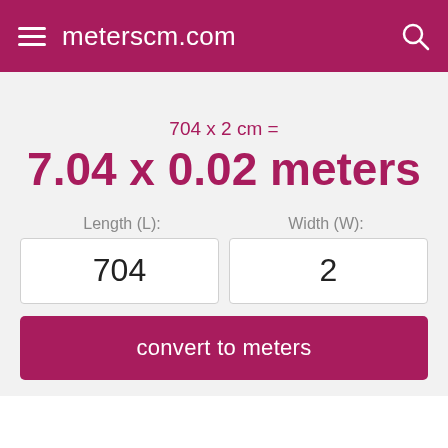meterscm.com
704 x 2 cm =
7.04 x 0.02 meters
Length (L):
Width (W):
704
2
convert to meters